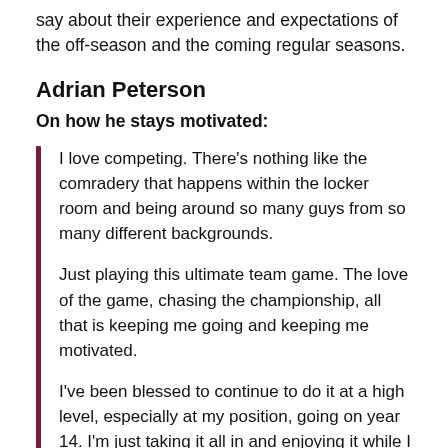say about their experience and expectations of the off-season and the coming regular seasons.
Adrian Peterson
On how he stays motivated:
I love competing. There's nothing like the comradery that happens within the locker room and being around so many guys from so many different backgrounds.

Just playing this ultimate team game. The love of the game, chasing the championship, all that is keeping me going and keeping me motivated.

I've been blessed to continue to do it at a high level, especially at my position, going on year 14. I'm just taking it all in and enjoying it while I can.